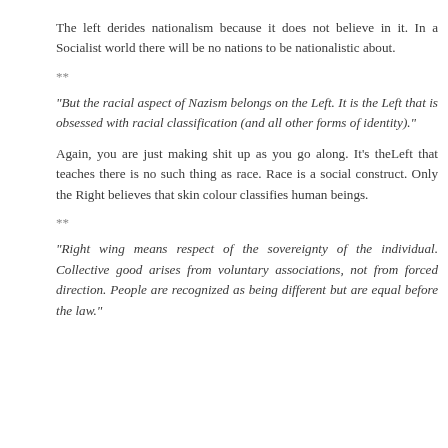The left derides nationalism because it does not believe in it. In a Socialist world there will be no nations to be nationalistic about.
**
"But the racial aspect of Nazism belongs on the Left. It is the Left that is obsessed with racial classification (and all other forms of identity)."
Again, you are just making shit up as you go along. It's theLeft that teaches there is no such thing as race. Race is a social construct. Only the Right believes that skin colour classifies human beings.
**
"Right wing means respect of the sovereignty of the individual. Collective good arises from voluntary associations, not from forced direction. People are recognized as being different but are equal before the law."